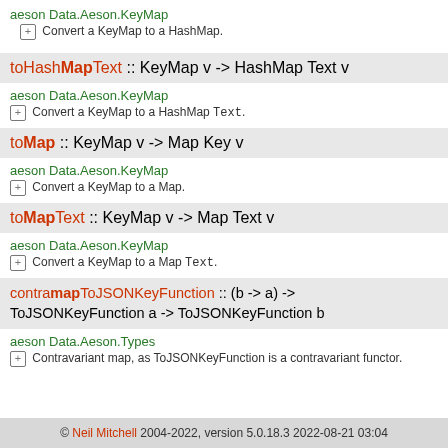aeson Data.Aeson.KeyMap
⊕ Convert a KeyMap to a HashMap.
toHashMapText :: KeyMap v -> HashMap Text v
aeson Data.Aeson.KeyMap
⊕ Convert a KeyMap to a HashMap Text.
toMap :: KeyMap v -> Map Key v
aeson Data.Aeson.KeyMap
⊕ Convert a KeyMap to a Map.
toMapText :: KeyMap v -> Map Text v
aeson Data.Aeson.KeyMap
⊕ Convert a KeyMap to a Map Text.
contramapToJSONKeyFunction :: (b -> a) -> ToJSONKeyFunction a -> ToJSONKeyFunction b
aeson Data.Aeson.Types
⊕ Contravariant map, as ToJSONKeyFunction is a contravariant functor.
© Neil Mitchell 2004-2022, version 5.0.18.3 2022-08-21 03:04